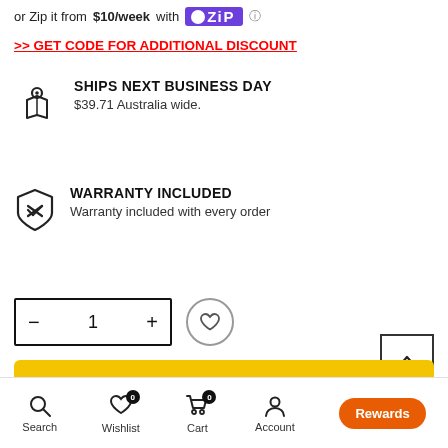or Zip it from $10/week with Zip
>> GET CODE FOR ADDITIONAL DISCOUNT
SHIPS NEXT BUSINESS DAY
$39.71 Australia wide.
WARRANTY INCLUDED
Warranty included with every order
1
ADD TO CART
Search  Wishlist  Cart  Account  Shop  Rewards